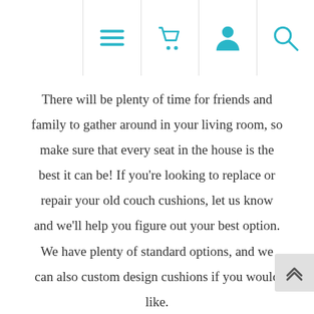Navigation header with menu, cart, user, and search icons
There will be plenty of time for friends and family to gather around in your living room, so make sure that every seat in the house is the best it can be! If you're looking to replace or repair your old couch cushions, let us know and we'll help you figure out your best option. We have plenty of standard options, and we can also custom design cushions if you would like.
The same goes for upholstery. It can make or break the look of a room and the feel of your furniture. If your upholstery is damaged or you'd like to change its style, we can help. Our pros can reupholster your furniture in any style you can think of, using a wide